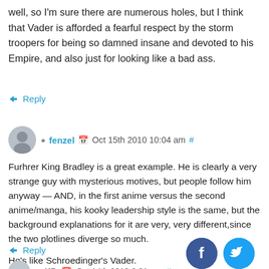well, so I'm sure there are numerous holes, but I think that Vader is afforded a fearful respect by the storm troopers for being so damned insane and devoted to his Empire, and also just for looking like a bad ass.
↳ Reply
fenzel  Oct 15th 2010 10:04 am #
Furhrer King Bradley is a great example. He is clearly a very strange guy with mysterious motives, but people follow him anyway — AND, in the first anime versus the second anime/manga, his kooky leadership style is the same, but the background explanations for it are very, very different,since the two plotlines diverge so much.

He's like Schroedinger's Vader.
↳ Reply
• KP  Oct 14th 2010 6:31 pm #